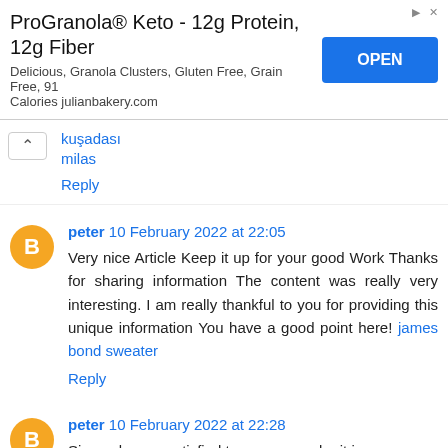[Figure (other): Advertisement banner for ProGranola Keto product with OPEN button]
kuşadası
milas
Reply
peter 10 February 2022 at 22:05
Very nice Article Keep it up for your good Work Thanks for sharing information The content was really very interesting. I am really thankful to you for providing this unique information You have a good point here! james bond sweater
Reply
peter 10 February 2022 at 22:28
Sincerely very satisfied to say your submit is very exciting